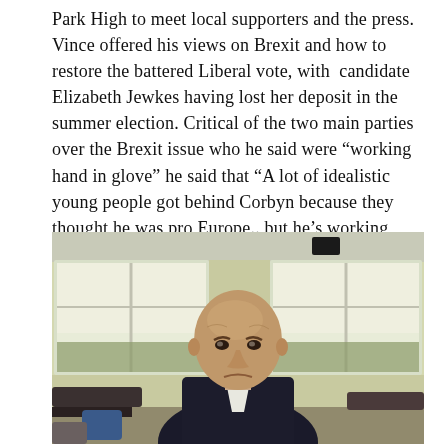Park High to meet local supporters and the press. Vince offered his views on Brexit and how to restore the battered Liberal vote, with  candidate Elizabeth Jewkes having lost her deposit in the summer election. Critical of the two main parties over the Brexit issue who he said were “working hand in glove” he said that “A lot of idealistic young people got behind Corbyn because they thought he was pro Europe.. but he’s working with them”.
[Figure (photo): An elderly bald man in a dark suit sitting in what appears to be a school cafeteria or meeting room, with large windows and yellow walls visible in the background. Tables and chairs are visible around him.]